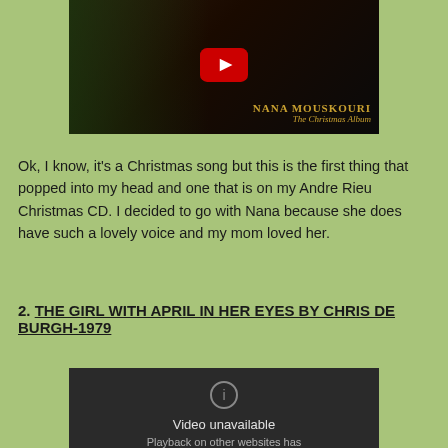[Figure (screenshot): YouTube video thumbnail for Nana Mouskouri - The Christmas Album, showing a YouTube play button overlay on a dark background with Christmas tree and album text.]
Ok, I know, it's a Christmas song but this is the first thing that popped into my head and one that is on my Andre Rieu Christmas CD. I decided to go with Nana because she does have such a lovely voice and my mom loved her.
2. THE GIRL WITH APRIL IN HER EYES BY CHRIS DE BURGH-1979
[Figure (screenshot): Embedded video player showing 'Video unavailable - Playback on other websites has' message on dark background.]